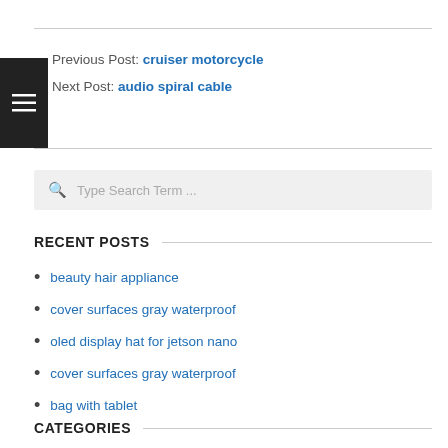Previous Post: cruiser motorcycle
Next Post: audio spiral cable
Type Search Term ...
RECENT POSTS
beauty hair appliance
cover surfaces gray waterproof
oled display hat for jetson nano
cover surfaces gray waterproof
bag with tablet
CATEGORIES